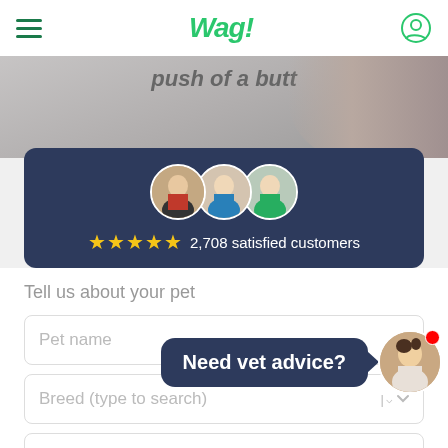Wag!
[Figure (screenshot): Hero background image showing partial text 'push of a butt' with blurred person in background]
[Figure (infographic): Dark navy card with three circular avatar photos of people (vet professionals) and five gold stars with text '2,708 satisfied customers']
Tell us about your pet
Pet name
Breed (type to search)
Age
Weight
[Figure (screenshot): Chat bubble overlay reading 'Need vet advice?' with circular avatar of a female vet with a red notification dot]